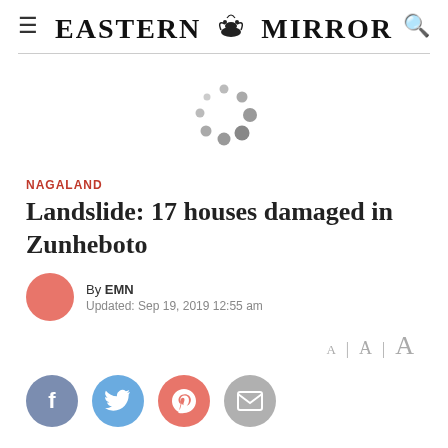Eastern Mirror
[Figure (other): Loading spinner graphic with grey dots arranged in a circle]
NAGALAND
Landslide: 17 houses damaged in Zunheboto
By EMN
Updated: Sep 19, 2019 12:55 am
A | A | A
[Figure (other): Social share buttons: Facebook, Twitter, Pinterest, Email]